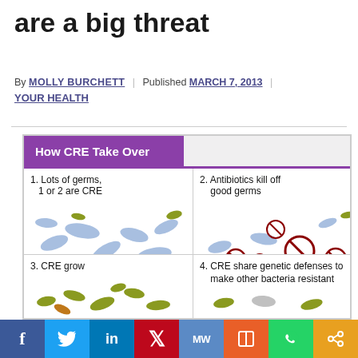are a big threat
By MOLLY BURCHETT | Published MARCH 7, 2013 | YOUR HEALTH
[Figure (infographic): Infographic titled 'How CRE Take Over' showing 4 panels: 1. Lots of germs, 1 or 2 are CRE (blue and olive bacteria), 2. Antibiotics kill off good germs (blue bacteria with red prohibition circles), 3. CRE grow (olive bacteria growing), 4. CRE share genetic defenses to make other bacteria resistant]
Social sharing bar: Facebook, Twitter, LinkedIn, Pinterest, MedWatch, Mixx, WhatsApp, Share